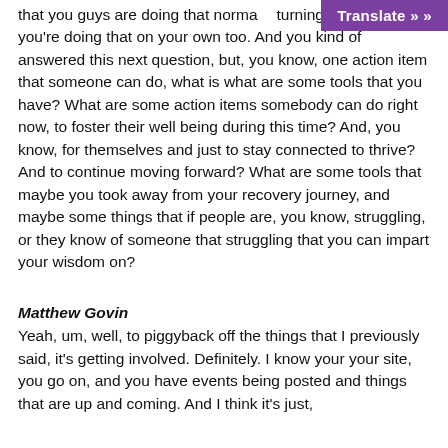that you guys are doing that normally turning point, but you're doing that on your own too. And you kind of answered this next question, but, you know, one action item that someone can do, what is what are some tools that you have? What are some action items somebody can do right now, to foster their well being during this time? And, you know, for themselves and just to stay connected to thrive? And to continue moving forward? What are some tools that maybe you took away from your recovery journey, and maybe some things that if people are, you know, struggling, or they know of someone that struggling that you can impart your wisdom on?
Matthew Govin
Yeah, um, well, to piggyback off the things that I previously said, it's getting involved. Definitely. I know your your site, you go on, and you have events being posted and things that are up and coming. And I think it's just,